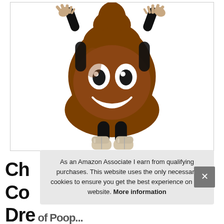[Figure (photo): Child wearing a poop emoji costume - a large brown plush body suit shaped like the poop emoji with eyes and a smile, paired with black tights and silver boots. Arms raised.]
Ch Co Dr...
As an Amazon Associate I earn from qualifying purchases. This website uses the only necessary cookies to ensure you get the best experience on our website. More information